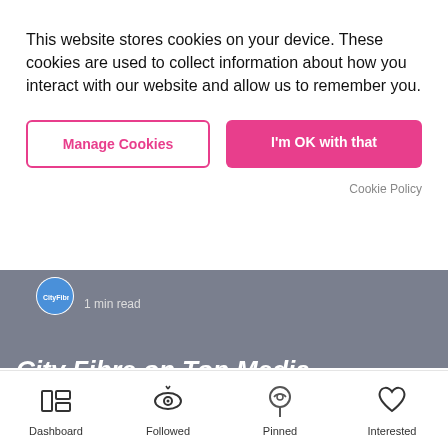This website stores cookies on your device. These cookies are used to collect information about how you interact with our website and allow us to remember you.
Manage Cookies
I'm OK with that
Cookie Policy
1 min read
[Figure (screenshot): Background website content showing a gray article banner with author avatar (CityFibre logo) and '1 min read' text, with a partially visible italic article title at the bottom]
Dashboard
Followed
Pinned
Interested